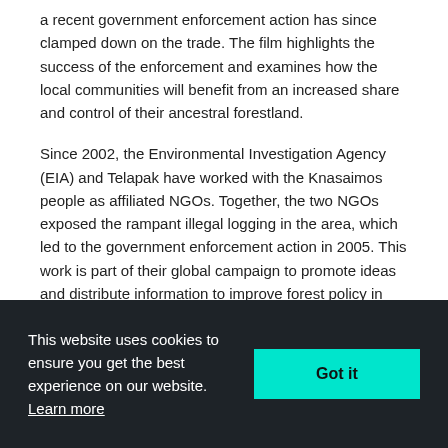a recent government enforcement action has since clamped down on the trade. The film highlights the success of the enforcement and examines how the local communities will benefit from an increased share and control of their ancestral forestland.
Since 2002, the Environmental Investigation Agency (EIA) and Telapak have worked with the Knasaimos people as affiliated NGOs. Together, the two NGOs exposed the rampant illegal logging in the area, which led to the government enforcement action in 2005. This work is part of their global campaign to promote ideas and distribute information to improve forest policy in Indonesia and throughout the world. They have since been initiated into the Knasaimos tribe and continue to help them decide their future.
2.  05:10- 11:15
This website uses cookies to ensure you get the best experience on our website. Learn more